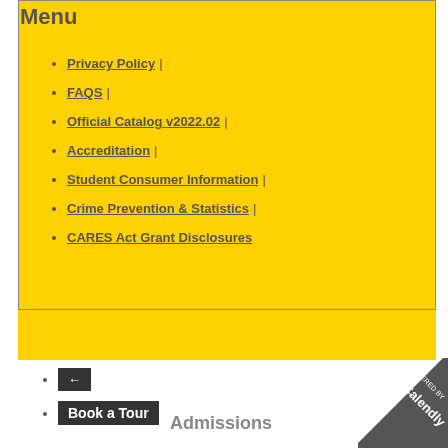Menu
Privacy Policy |
FAQS |
Official Catalog v2022.02 |
Accreditation |
Student Consumer Information |
Crime Prevention & Statistics |
CARES Act Grant Disclosures
← (back button)
Book a Tour
Admissions
[Figure (logo): Powered by Calendly badge in bottom-right corner]